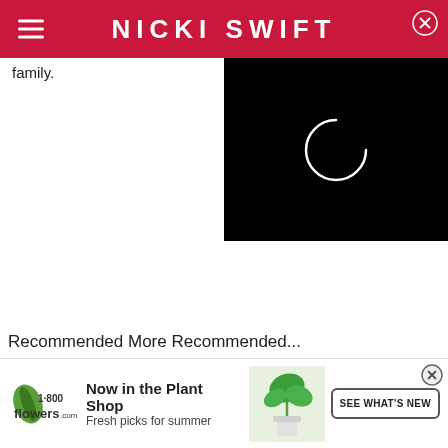NICKI SWIFT
family.
[Figure (screenshot): Black video player overlay with a white circular loading spinner/icon centered on a black background]
Recommended More Recommended...
[Figure (infographic): 1-800-Flowers.com advertisement banner. Logo on left, text 'Now in the Plant Shop / Fresh picks for summer', plant image in center-right, 'SEE WHAT'S NEW' button on right.]